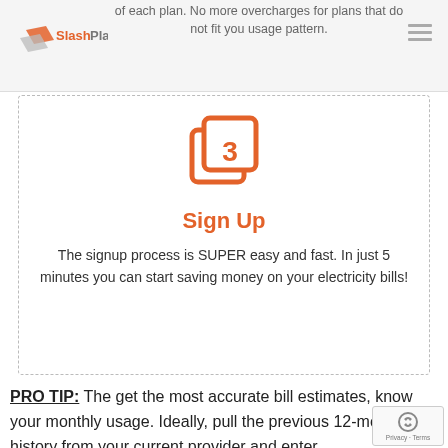[Figure (logo): SlashPlan logo with orange/grey diamond icon and text 'SlashPlan' in orange and grey]
of each plan. No more overcharges for plans that do not fit you usage pattern.
[Figure (illustration): Orange step 3 icon — stacked squares with number 3]
Sign Up
The signup process is SUPER easy and fast. In just 5 minutes you can start saving money on your electricity bills!
PRO TIP: The get the most accurate bill estimates, know your monthly usage. Ideally, pull the previous 12-month history from your current provider and enter